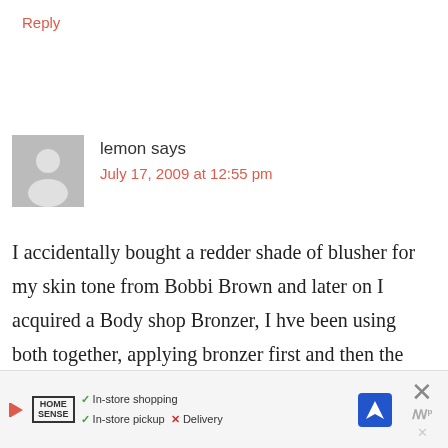Reply
lemon says
July 17, 2009 at 12:55 pm
I accidentally bought a redder shade of blusher for my skin tone from Bobbi Brown and later on I acquired a Body shop Bronzer, I hve been using both together, applying bronzer first and then the blusher. It tamed the red color and looks more natural on me with more orangy,
[Figure (screenshot): Advertisement banner for Home Sense showing in-store shopping, in-store pickup checkmarks and Delivery with red X, with navigation icon and close button]